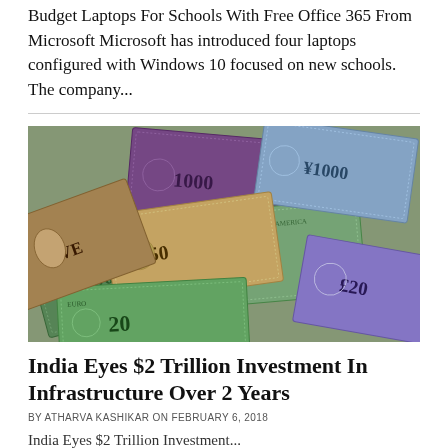Budget Laptops For Schools With Free Office 365 From Microsoft Microsoft has introduced four laptops configured with Windows 10 focused on new schools. The company...
[Figure (photo): Photograph of various world currency banknotes spread out — including US dollars, Euros, British pounds, and other international bills overlapping each other.]
India Eyes $2 Trillion Investment In Infrastructure Over 2 Years
BY ATHARVA KASHIKAR ON FEBRUARY 6, 2018
India Eyes $2 Trillion Investment...